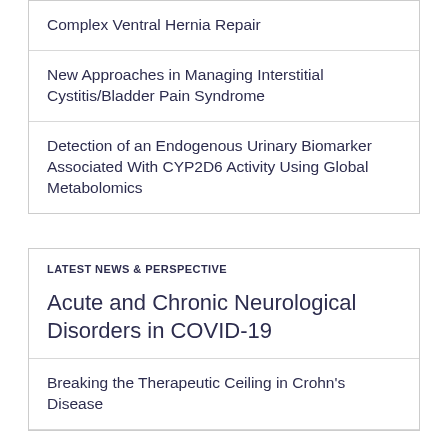Complex Ventral Hernia Repair
New Approaches in Managing Interstitial Cystitis/Bladder Pain Syndrome
Detection of an Endogenous Urinary Biomarker Associated With CYP2D6 Activity Using Global Metabolomics
LATEST NEWS & PERSPECTIVE
Acute and Chronic Neurological Disorders in COVID-19
Breaking the Therapeutic Ceiling in Crohn's Disease